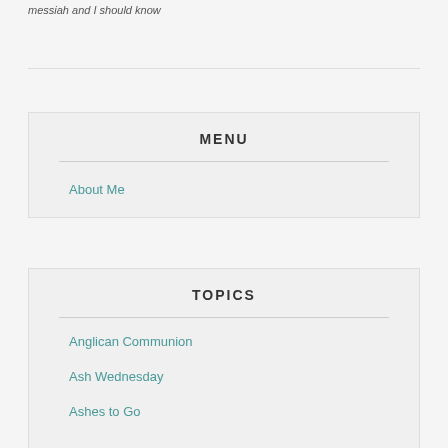messiah and I should know
MENU
About Me
TOPICS
Anglican Communion
Ash Wednesday
Ashes to Go